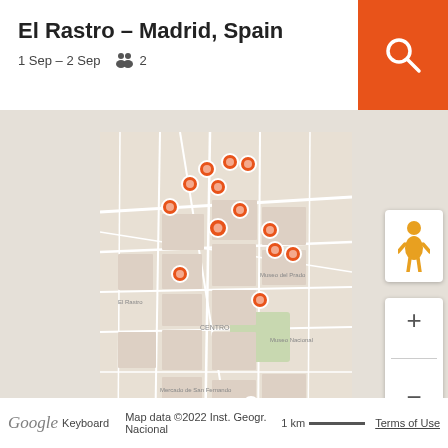El Rastro – Madrid, Spain
1 Sep – 2 Sep   👥  2
[Figure (map): Google Map showing El Rastro area in Madrid, Spain with multiple orange location markers clustered around the centro district. Map includes street labels, landmarks, and a single isolated orange marker in the lower portion of the full map view.]
Google  Keyboard  Map data ©2022 Inst. Geogr. Nacional  1 km ——  Terms of Use